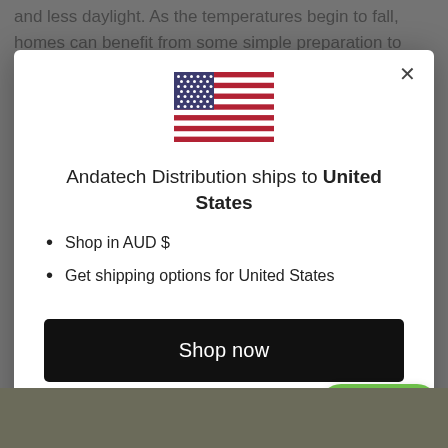and less daylight. As the temperatures begin to fall, homes can benefit from some simple preparation to
[Figure (illustration): US flag SVG illustration inside modal dialog]
Andatech Distribution ships to United States
Shop in AUD $
Get shipping options for United States
Shop now
Change shipping country
Support